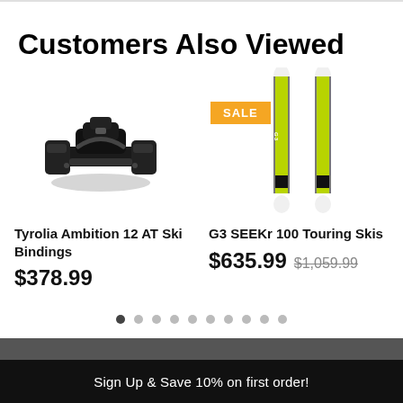Customers Also Viewed
[Figure (photo): Tyrolia Ambition 12 AT Ski Bindings product photo — black ski binding hardware on white background]
[Figure (photo): G3 SEEKr 100 Touring Skis product photo — two yellow-green skis standing vertically, with a SALE badge overlay]
Tyrolia Ambition 12 AT Ski Bindings
$378.99
G3 SEEKr 100 Touring Skis
$635.99 $1,059.99
Sign Up & Save 10% on first order!